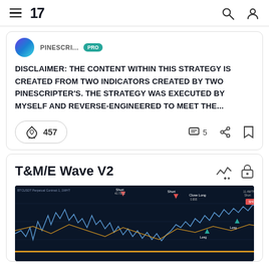TradingView navigation bar with logo '17', search icon, and user icon
DISCLAIMER: THE CONTENT WITHIN THIS STRATEGY IS CREATED FROM TWO INDICATORS CREATED BY TWO PINESCRIPTER'S. THE STRATEGY WAS EXECUTED BY MYSELF AND REVERSE-ENGINEERED TO MEET THE...
457 boosts · 5 comments
T&M/E Wave V2
[Figure (screenshot): Trading chart screenshot showing BTCUSDT Perpetual Contract on dark background with multiple candlestick patterns, price action, long/short trade signals marked with arrows and labels, and an orange/yellow horizontal line at the bottom]